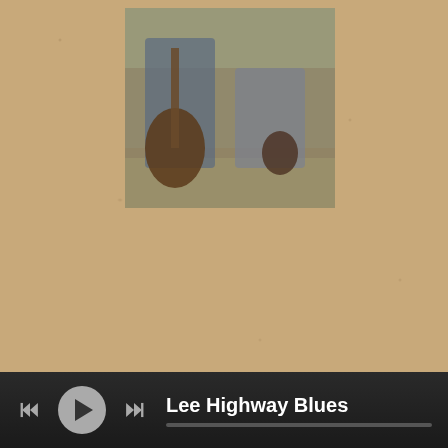[Figure (photo): Two musicians outdoors with a large double bass and another instrument, sitting/standing on a patio or outdoor area with wooden fencing in the background.]
[Figure (photo): Four people posing together outdoors next to a large upright double bass, standing in front of a wooden barn or rustic structure.]
Lee Highway Blues